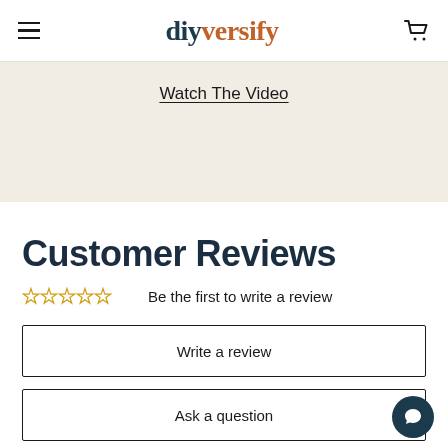diyversify — navigation header with hamburger menu and cart icon
Watch The Video
Customer Reviews
☆☆☆☆☆ Be the first to write a review
Write a review
Ask a question